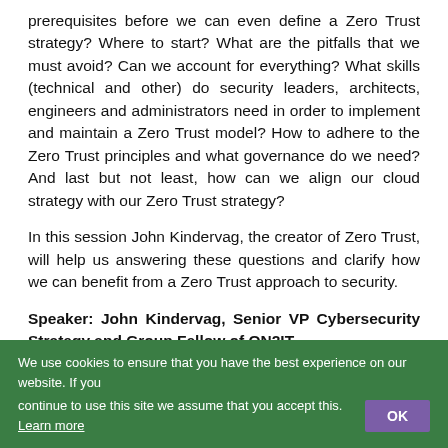prerequisites before we can even define a Zero Trust strategy? Where to start? What are the pitfalls that we must avoid? Can we account for everything? What skills (technical and other) do security leaders, architects, engineers and administrators need in order to implement and maintain a Zero Trust model? How to adhere to the Zero Trust principles and what governance do we need? And last but not least, how can we align our cloud strategy with our Zero Trust strategy?
In this session John Kindervag, the creator of Zero Trust, will help us answering these questions and clarify how we can benefit from a Zero Trust approach to security.
Speaker: John Kindervag, Senior VP Cybersecurity Strategy and Group Fellow of ON2IT
We use cookies to ensure that you have the best experience on our website. If you continue to use this site we assume that you accept this. Learn more OK